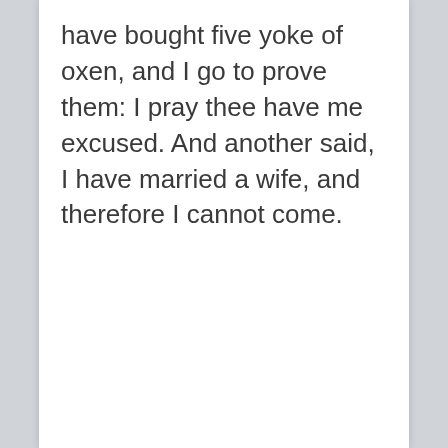have bought five yoke of oxen, and I go to prove them: I pray thee have me excused. And another said, I have married a wife, and therefore I cannot come.